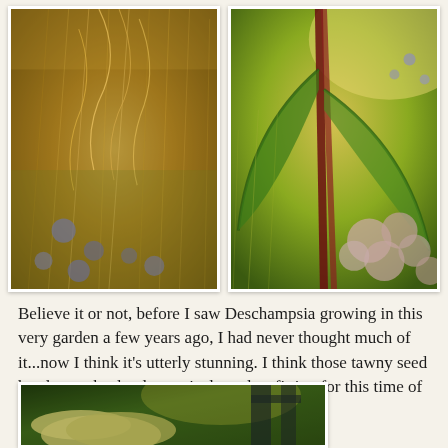[Figure (photo): Close-up garden photo of Deschampsia grass with wispy tawny seed heads and blue-purple flowers in background, warm golden light]
[Figure (photo): Garden photo showing a tall red/green plant (possibly canna or similar) surrounded by ornamental grasses and pink fluffy flower heads in bright sunlight]
Believe it or not, before I saw Deschampsia growing in this very garden a few years ago, I had never thought much of it...now I think it's utterly stunning. I think those tawny seed heads are absolutely magical...and so fitting for this time of year.
[Figure (photo): Garden path with large ornamental grass with feathery plumes catching sunlight, garden gate and greenery in background]